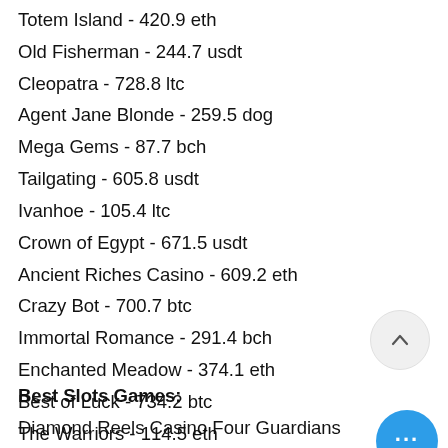Totem Island - 420.9 eth
Old Fisherman - 244.7 usdt
Cleopatra - 728.8 ltc
Agent Jane Blonde - 259.5 dog
Mega Gems - 87.7 bch
Tailgating - 605.8 usdt
Ivanhoe - 105.4 ltc
Crown of Egypt - 671.5 usdt
Ancient Riches Casino - 609.2 eth
Crazy Bot - 700.7 btc
Immortal Romance - 291.4 bch
Enchanted Meadow - 374.1 eth
Best of Luck - 734.2 btc
The Warriors - 114.5 eth
Spin Party - 309.2 eth
Best Slots Games:
Diamond Reels Casino Four Guardians
Bspin.io Casino Global Cup Soccer
mBTC free bet Alien Hunter
CryptoWild Casino Top Times Wins